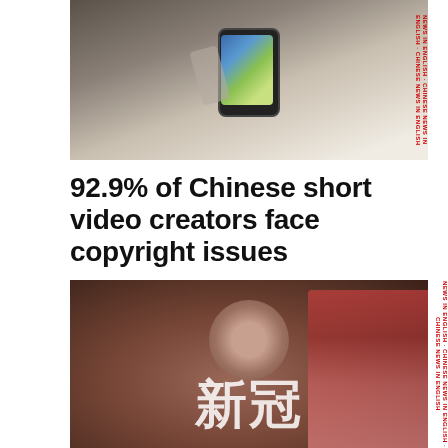[Figure (photo): Top photo: hand holding a smartphone showing a video/news app screen, shown from above. Partially visible with sidebar text on right edge.]
92.9% of Chinese short video creators face copyright issues
December 9, 2020   In News
Tags   Short Video   Society & Culture   Platforms   Douyin (TikTok)
[Figure (photo): Bottom photo: elderly Chinese man wearing headphones outdoors with red flowers/trees in background. Chinese characters overlay visible at bottom.]